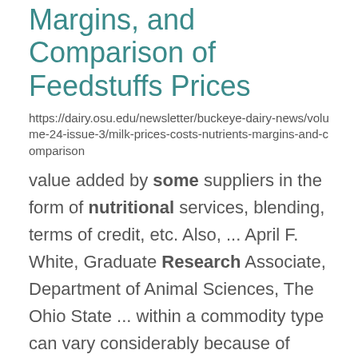Margins, and Comparison of Feedstuffs Prices
https://dairy.osu.edu/newsletter/buckeye-dairy-news/volume-24-issue-3/milk-prices-costs-nutrients-margins-and-comparison
value added by some suppliers in the form of nutritional services, blending, terms of credit, etc. Also, ... April F. White, Graduate Research Associate, Department of Animal Sciences, The Ohio State ... within a commodity type can vary considerably because of quality differences as well as non-nutritional ...
Animal Sciences Lesson Plans